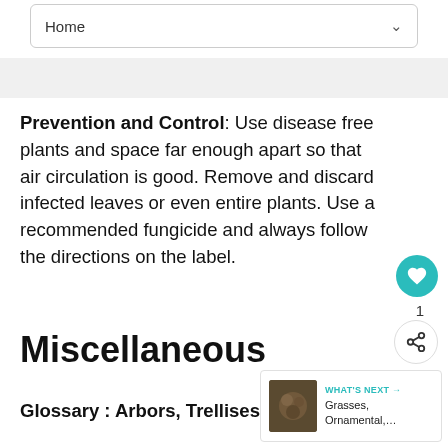Home
Prevention and Control: Use disease free plants and space far enough apart so that air circulation is good. Remove and discard infected leaves or even entire plants. Use a recommended fungicide and always follow the directions on the label.
Miscellaneous
Glossary : Arbors, Trellises, Perg…